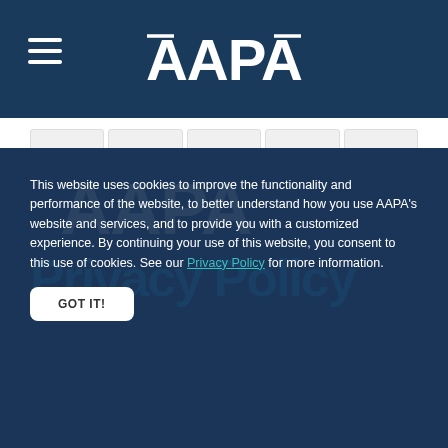[Figure (logo): AAPA organization logo in white on dark navy blue header bar, with hamburger menu icon on the left]
[Figure (screenshot): Navigation tabs row with 5 icon-based tab buttons on white background]
This website uses cookies to improve the functionality and performance of the website, to better understand how you use AAPA's website and services, and to provide you with a customized experience. By continuing your use of this website, you consent to this use of cookies. See our Privacy Policy for more information.
GOT IT!